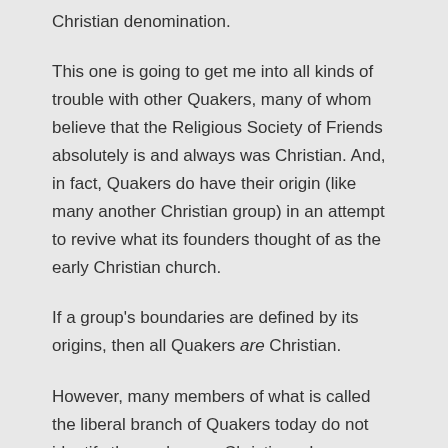Christian denomination.
This one is going to get me into all kinds of trouble with other Quakers, many of whom believe that the Religious Society of Friends absolutely is and always was Christian. And, in fact, Quakers do have their origin (like many another Christian group) in an attempt to revive what its founders thought of as the early Christian church.
If a group's boundaries are defined by its origins, then all Quakers are Christian.
However, many members of what is called the liberal branch of Quakers today do not identify themselves as Christians. In some monthly meetings (the small, local organizational unit of Quakers) non-Christians are the majority.